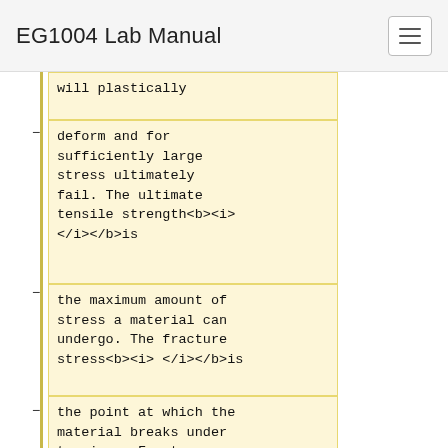EG1004 Lab Manual
will plastically
deform and for sufficiently large stress ultimately fail. The ultimate tensile strength<b><i></i></b>is
the maximum amount of stress a material can undergo. The fracture stress<b><i> </i></b>is
the point at which the material breaks under tension.  Fracture
stress<b><i> </i></b>is lower than the ultimate tensile